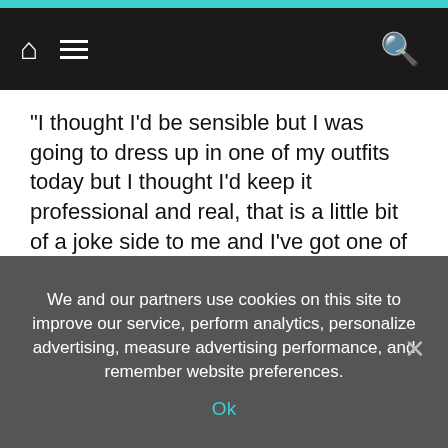Navigation bar with home, menu, and search icons
"I thought I'd be sensible but I was going to dress up in one of my outfits today but I thought I'd keep it professional and real, that is a little bit of a joke side to me and I've got one of those aprons when all the body is out and the willy is it out but I thought best not to offend people.
"But you never know it might make another appearance one day."
For the latest breaking news and stories from across the globe from the Daily Star, sign up for our
We and our partners use cookies on this site to improve our service, perform analytics, personalize advertising, measure advertising performance, and remember website preferences.